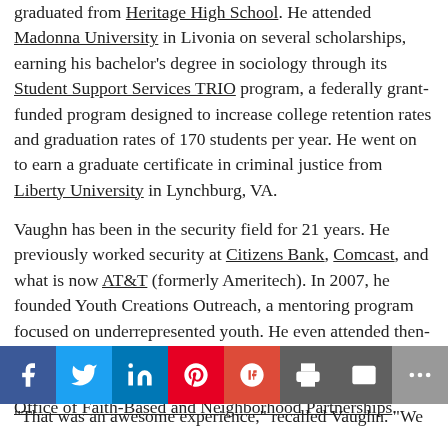graduated from Heritage High School. He attended Madonna University in Livonia on several scholarships, earning his bachelor's degree in sociology through its Student Support Services TRIO program, a federally grant-funded program designed to increase college retention rates and graduation rates of 170 students per year. He went on to earn a graduate certificate in criminal justice from Liberty University in Lynchburg, VA.
Vaughn has been in the security field for 21 years. He previously worked security at Citizens Bank, Comcast, and what is now AT&T (formerly Ameritech). In 2007, he founded Youth Creations Outreach, a mentoring program focused on underrepresented youth. He even attended then-President George W. Bush's Faith-Based Initiative Conference in 2007, which is part of the White House Office of Faith-Based and Neighborhood Partnerships.
[Figure (infographic): Social media share bar with icons for Facebook, Twitter, LinkedIn, Pinterest, Google+, Print, Email, and More]
"That was an awesome experience," recalled Vaughn. "We